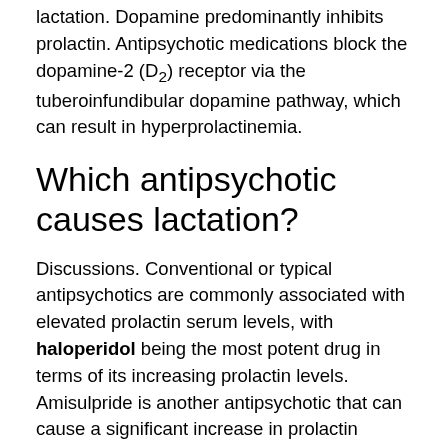lactation. Dopamine predominantly inhibits prolactin. Antipsychotic medications block the dopamine-2 (D2) receptor via the tuberoinfundibular dopamine pathway, which can result in hyperprolactinemia.
Which antipsychotic causes lactation?
Discussions. Conventional or typical antipsychotics are commonly associated with elevated prolactin serum levels, with haloperidol being the most potent drug in terms of its increasing prolactin levels. Amisulpride is another antipsychotic that can cause a significant increase in prolactin serum levels [38,39].